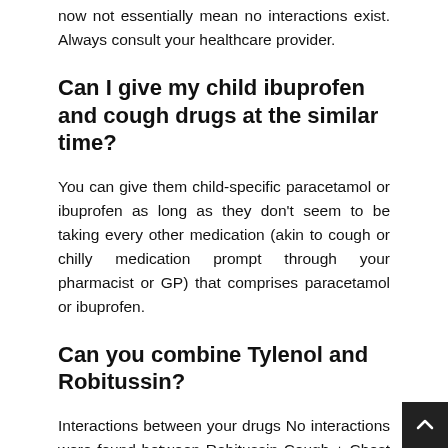now not essentially mean no interactions exist. Always consult your healthcare provider.
Can I give my child ibuprofen and cough drugs at the similar time?
You can give them child-specific paracetamol or ibuprofen as long as they don't seem to be taking every other medication (akin to cough or chilly medication prompt through your pharmacist or GP) that comprises paracetamol or ibuprofen.
Can you combine Tylenol and Robitussin?
Interactions between your drugs No interactions were found between Robitussin Cough + Chest Congestion...